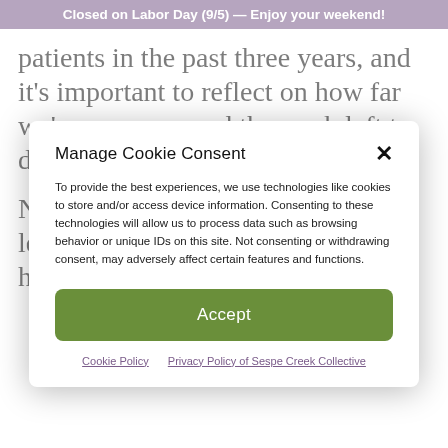Closed on Labor Day (9/5) — Enjoy your weekend!
patients in the past three years, and it's important to reflect on how far we've come — and the work left to do.
November 8 is the anniversary of legalization in California —  but here at
Manage Cookie Consent
To provide the best experiences, we use technologies like cookies to store and/or access device information. Consenting to these technologies will allow us to process data such as browsing behavior or unique IDs on this site. Not consenting or withdrawing consent, may adversely affect certain features and functions.
Accept
Cookie Policy   Privacy Policy of Sespe Creek Collective